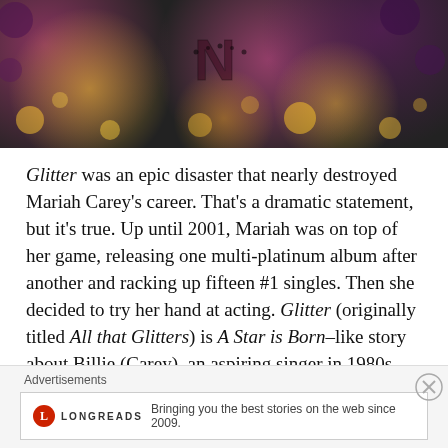[Figure (photo): Cropped photo of a performer (Mariah Carey) in a pink bedazzled outfit on a sparkly stage background]
Glitter was an epic disaster that nearly destroyed Mariah Carey's career. That's a dramatic statement, but it's true. Up until 2001, Mariah was on top of her game, releasing one multi-platinum album after another and racking up fifteen #1 singles. Then she decided to try her hand at acting. Glitter (originally titled All that Glitters) is A Star is Born–like story about Billie (Carey), an aspiring singer in 1980s New York, who meets Dice (Max Beesley), a DJ who helps to propel her career as his own is flailing. There's romance, drama, and lots of great music from
Advertisements
[Figure (logo): Longreads advertisement banner: red circle logo with L, LONGREADS text, tagline 'Bringing you the best stories on the web since 2009.']